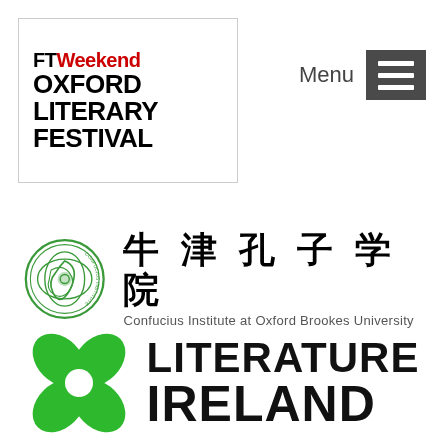[Figure (logo): FT Weekend Oxford Literary Festival logo in top-left with red 'Weekend' text and bold black 'OXFORD LITERARY FESTIVAL' text, inside a bordered box]
[Figure (logo): Menu button with grey 'Menu' label and dark grey hamburger icon (three horizontal white lines on dark background)]
[Figure (logo): Confucius Institute at Oxford Brookes University logo: circular green emblem on left, Chinese characters '牛津孔子学院' and English subtitle 'Confucius Institute at Oxford Brookes University' on right]
[Figure (logo): Literature Ireland logo: green four-leaf clover/flower icon on left, bold black text 'LITERATURE IRELAND' on right]